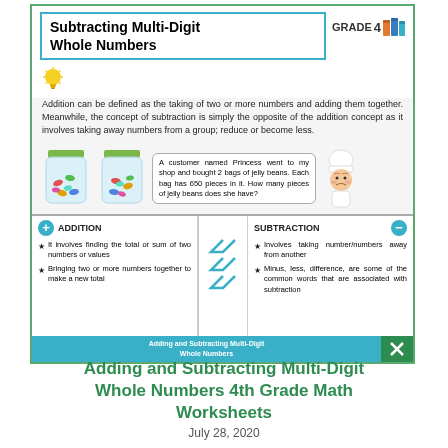Subtracting Multi-Digit Whole Numbers
Addition can be defined as the taking of two or more numbers and adding them together. Meanwhile, the concept of subtraction is simply the opposite of the addition concept as it involves taking away numbers from a group; reduce or become less.
[Figure (illustration): Two jars of jelly beans with a chef character and speech bubble saying: A customer named Princess went to my shop and bought 2 bags of jelly beans. Each bag has 650 pieces in it. How many pieces of jelly beans does she have?]
ADDITION
It involves finding the total or sum of two numbers or values
Bringing two or more numbers together to make a new total
SUBTRACTION
Involves taking number/numbers away from another
Minus, less, difference, are some of the common words that are associated with subtraction
Adding and Subtracting Multi-Digit Whole Numbers
Adding and Subtracting Multi-Digit Whole Numbers 4th Grade Math Worksheets
July 28, 2020